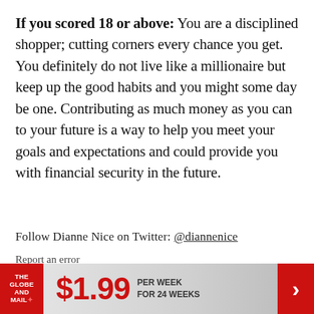If you scored 18 or above: You are a disciplined shopper; cutting corners every chance you get. You definitely do not live like a millionaire but keep up the good habits and you might some day be one. Contributing as much money as you can to your future is a way to help you meet your goals and expectations and could provide you with financial security in the future.
Follow Dianne Nice on Twitter: @diannenice
Report an error
Editorial code of conduct
[Figure (infographic): Globe and Mail subscription banner ad: The Globe and Mail logo on red background on the left, large red '$1.99' price text in center, 'PER WEEK FOR 24 WEEKS' text to the right, red arrow button on the far right.]